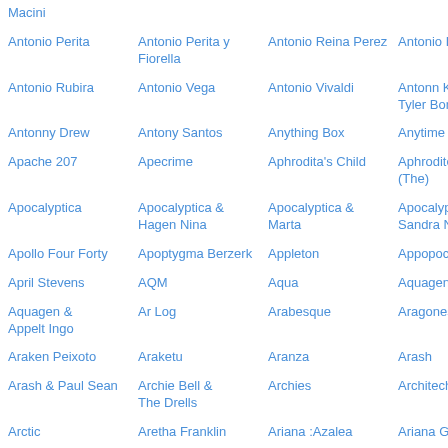Macini
Antonio Perita
Antonio Perita y Fiorella
Antonio Reina Perez
Antonio Rom…
Antonio Rubira
Antonio Vega
Antonio Vivaldi
Antonn Kare… Tyler Bonnie
Antonny Drew
Antony Santos
Anything Box
Anytime (20…
Apache 207
Apecrime
Aphrodita's Child
Aphrodite's C… (The)
Apocalyptica
Apocalyptica & Hagen Nina
Apocalyptica & Marta
Apocalyptica Sandra Nasic…
Apollo Four Forty
Apoptygma Berzerk
Appleton
Appopocalyp…
April Stevens
AQM
Aqua
Aquagen
Aquagen & Appelt Ingo
Ar Log
Arabesque
Aragonesa
Araken Peixoto
Araketu
Aranza
Arash
Arash & Paul Sean
Archie Bell & The Drells
Archies
Architechs &…
Arctic
Aretha Franklin
Ariana :Azalea
Ariana Gran…